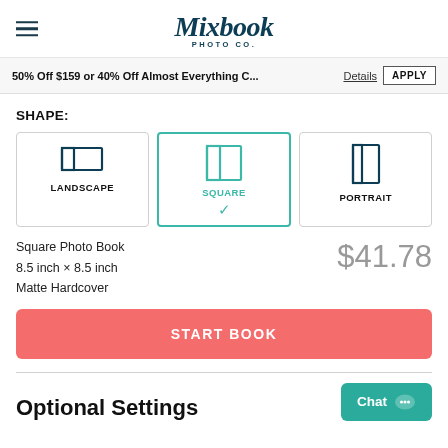Mixbook Photo Co.
50% Off $159 or 40% Off Almost Everything C... Details APPLY
SHAPE:
[Figure (other): Three shape selection options: LANDSCAPE (unselected, horizontal rectangle icon), SQUARE (selected with teal border and checkmark, square icon with teal color), PORTRAIT (unselected, vertical rectangle icon)]
Square Photo Book
8.5 inch × 8.5 inch
Matte Hardcover
$41.78
START BOOK
Optional Settings
Chat